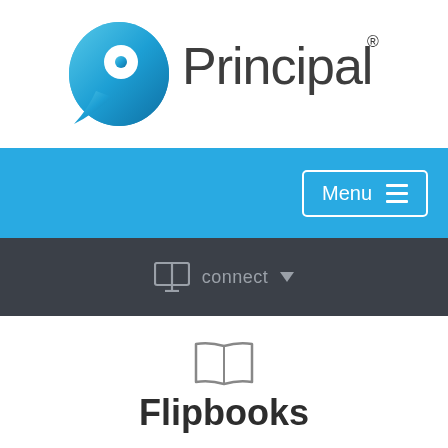[Figure (logo): Principal Financial Group logo — blue circular icon with white speech bubble shape, followed by the word 'Principal' in dark grey sans-serif with a registered trademark symbol]
[Figure (screenshot): Blue navigation bar with a 'Menu' button (white outlined rectangle with hamburger icon) on the right side]
[Figure (screenshot): Dark grey navigation bar with a monitor/screen icon and 'connect' text with a dropdown arrow]
[Figure (illustration): Open book icon in light grey outline style]
Flipbooks
These magazine-style flipbooks provide helpful information